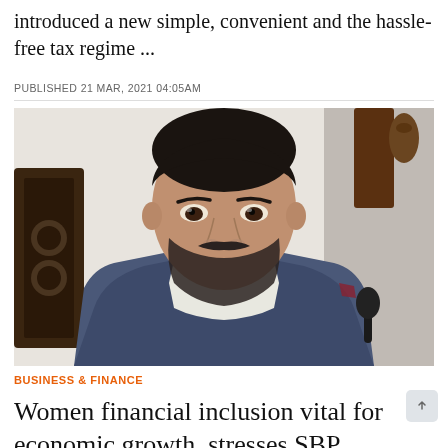introduced a new simple, convenient and the hassle-free tax regime ...
PUBLISHED 21 MAR, 2021 04:05AM
[Figure (photo): Portrait photo of a man in a blue suit and white kurta sitting in a chair, looking slightly to the side. He has a beard and short dark hair. The background shows a wooden chair and some decorative elements.]
BUSINESS & FINANCE
Women financial inclusion vital for economic growth, stresses SBP Baqir